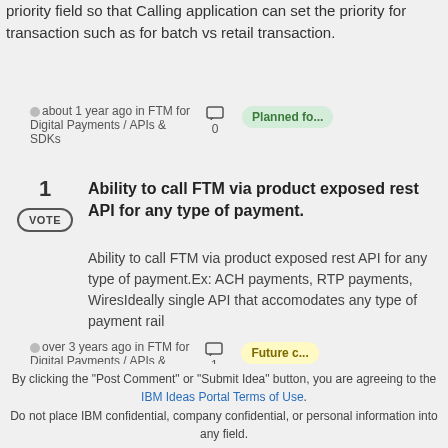priority field so that Calling application can set the priority for transaction such as for batch vs retail transaction.
about 1 year ago in FTM for Digital Payments / APIs & SDKs  0  Planned fo...
1  Ability to call FTM via product exposed rest API for any type of payment.
Ability to call FTM via product exposed rest API for any type of payment.Ex: ACH payments, RTP payments, WiresIdeally single API that accomodates any type of payment rail
over 3 years ago in FTM for Digital Payments / APIs & SDKs  1  Future c...
By clicking the "Post Comment" or "Submit Idea" button, you are agreeing to the IBM Ideas Portal Terms of Use. Do not place IBM confidential, company confidential, or personal information into any field.